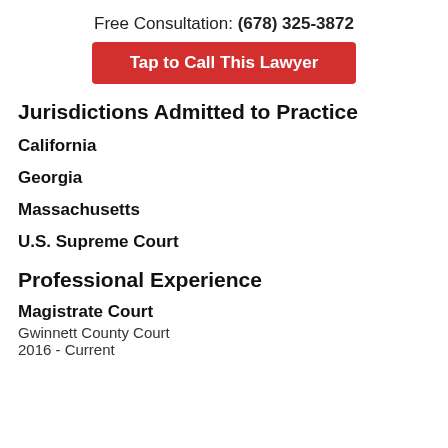Free Consultation: (678) 325-3872
Tap to Call This Lawyer
Jurisdictions Admitted to Practice
California
Georgia
Massachusetts
U.S. Supreme Court
Professional Experience
Magistrate Court
Gwinnett County Court
2016 - Current